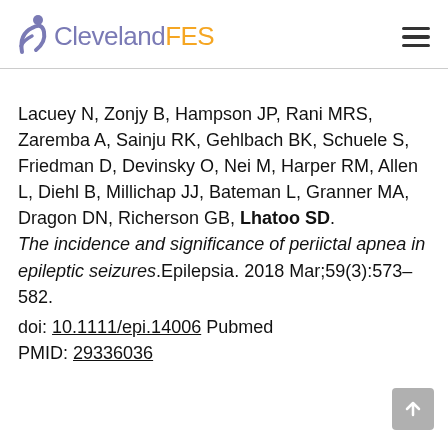ClevelandFES
Lacuey N, Zonjy B, Hampson JP, Rani MRS, Zaremba A, Sainju RK, Gehlbach BK, Schuele S, Friedman D, Devinsky O, Nei M, Harper RM, Allen L, Diehl B, Millichap JJ, Bateman L, Granner MA, Dragon DN, Richerson GB, Lhatoo SD. The incidence and significance of periictal apnea in epileptic seizures.Epilepsia. 2018 Mar;59(3):573–582. doi: 10.1111/epi.14006 Pubmed PMID: 29336036